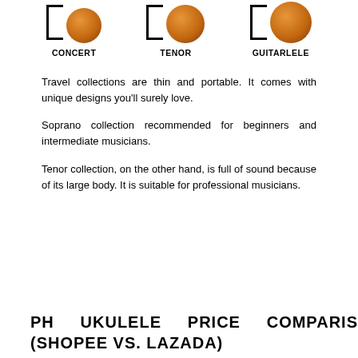[Figure (illustration): Three ukulele body illustrations with bracket indicators: Concert, Tenor, and Guitarlele]
CONCERT   TENOR   GUITARLELE
Travel collections are thin and portable. It comes with unique designs you'll surely love.
Soprano collection recommended for beginners and intermediate musicians.
Tenor collection, on the other hand, is full of sound because of its large body. It is suitable for professional musicians.
PH UKULELE PRICE COMPARISON (SHOPEE VS. LAZADA)